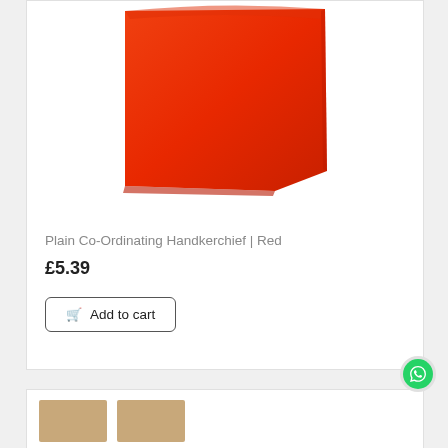[Figure (photo): Red folded handkerchief product photo on white background]
Plain Co-Ordinating Handkerchief | Red
£5.39
Add to cart
[Figure (photo): Partial view of second product card showing two tan/brown product thumbnails at the bottom of the page]